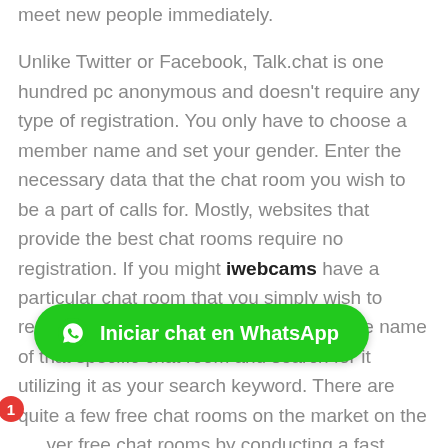meet new people immediately.

Unlike Twitter or Facebook, Talk.chat is one hundred pc anonymous and doesn't require any type of registration. You only have to choose a member name and set your gender. Enter the necessary data that the chat room you wish to be a part of calls for. Mostly, websites that provide the best chat rooms require no registration. If you might iwebcams have a particular chat room that you simply wish to register, you possibly can merely enter the name of that specific chat room and search for it utilizing it as your search keyword. There are quite a few free chat rooms on the market on the [...]ver free chat rooms by conducting a fast Google search.
[Figure (other): Green WhatsApp button with text 'Iniciar chat en WhatsApp' and a red badge showing number 1]